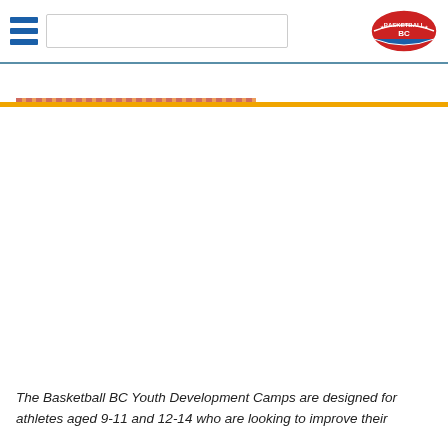[Basketball BC website header with hamburger menu, search box, and Basketball BC logo]
The Basketball BC Youth Development Camps are designed for athletes aged 9-11 and 12-14 who are looking to improve their